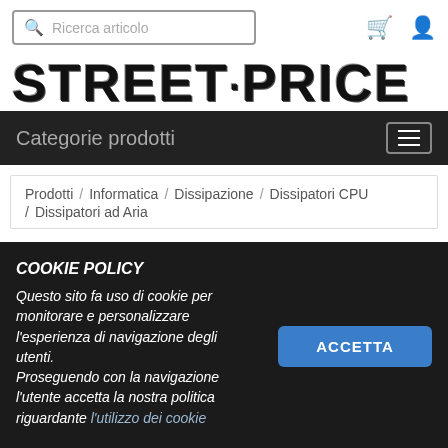Ricerca articolo
STREET·PRICE
Categorie prodotti
Prodotti / Informatica / Dissipazione / Dissipatori CPU / Dissipatori ad Aria
COOKIE POLICY
Questo sito fa uso di cookie per monitorare e personalizzare l'esperienza di navigazione degli utenti. Proseguendo con la navigazione l'utente accetta la nostra politica riguardante l'utilizzo dei cookie